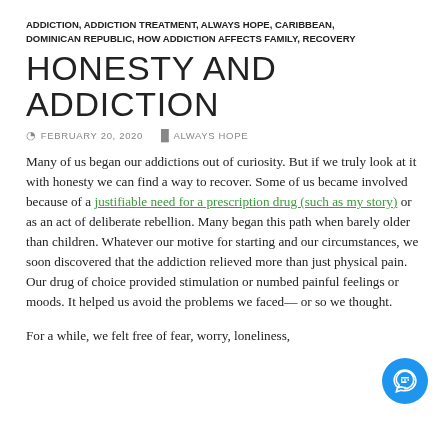ADDICTION, ADDICTION TREATMENT, ALWAYS HOPE, CARIBBEAN, DOMINICAN REPUBLIC, HOW ADDICTION AFFECTS FAMILY, RECOVERY
HONESTY AND ADDICTION
FEBRUARY 20, 2020   ALWAYS HOPE
Many of us began our addictions out of curiosity. But if we truly look at it with honesty we can find a way to recover. Some of us became involved because of a justifiable need for a prescription drug (such as my story) or as an act of deliberate rebellion. Many began this path when barely older than children. Whatever our motive for starting and our circumstances, we soon discovered that the addiction relieved more than just physical pain. Our drug of choice provided stimulation or numbed painful feelings or moods. It helped us avoid the problems we faced— or so we thought.
For a while, we felt free of fear, worry, loneliness,